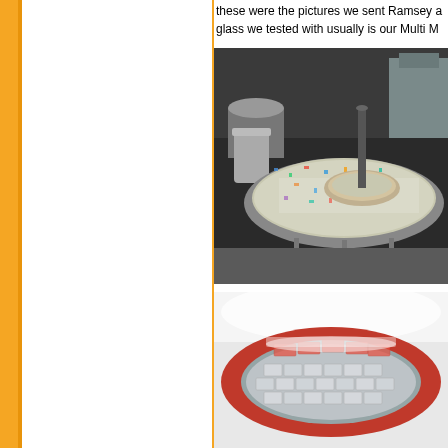these were the pictures we sent Ramsey a glass we tested with usually is our Multi M
[Figure (photo): A round metal fire pit table filled with colorful crushed glass/gems, with a central metal pipe, sitting on metal legs on a concrete floor. Industrial/warehouse background.]
[Figure (photo): Close-up of a round brick or tile-lined pit or oven structure, showing curved brick interior, viewed from above at an angle.]